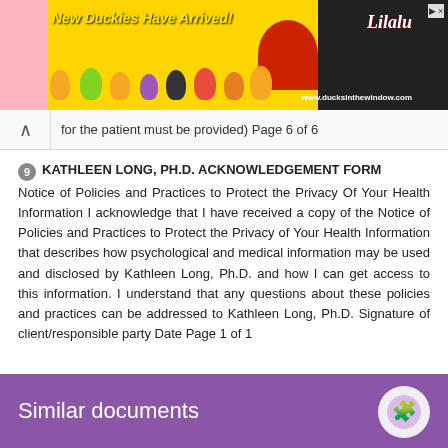[Figure (illustration): Advertisement banner for 'New Duckies Have Arrived!' from Lilalu brand, showing colorful rubber duck toys, with website www.ducksinthewindow.com]
for the patient must be provided) Page 6 of 6
KATHLEEN LONG, PH.D. ACKNOWLEDGEMENT FORM Notice of Policies and Practices to Protect the Privacy Of Your Health Information I acknowledge that I have received a copy of the Notice of Policies and Practices to Protect the Privacy of Your Health Information that describes how psychological and medical information may be used and disclosed by Kathleen Long, Ph.D. and how I can get access to this information. I understand that any questions about these policies and practices can be addressed to Kathleen Long, Ph.D. Signature of client/responsible party Date Page 1 of 1
Similar documents